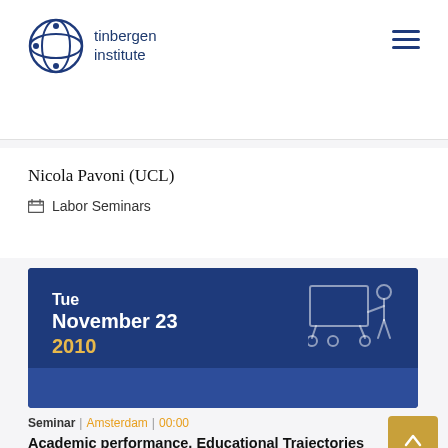tinbergen institute
Nicola Pavoni (UCL)
Labor Seminars
[Figure (illustration): Blue banner with date: Tue November 23 2010, with outline icon of a person presenting at a board]
Seminar | Amsterdam | 00:00
Academic performance, Educational Trajectories and the Persistence of Date of Birth Effects. Evidence from France.